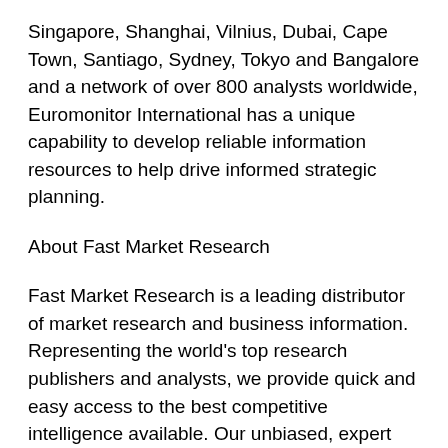Singapore, Shanghai, Vilnius, Dubai, Cape Town, Santiago, Sydney, Tokyo and Bangalore and a network of over 800 analysts worldwide, Euromonitor International has a unique capability to develop reliable information resources to help drive informed strategic planning.
About Fast Market Research
Fast Market Research is a leading distributor of market research and business information. Representing the world's top research publishers and analysts, we provide quick and easy access to the best competitive intelligence available. Our unbiased, expert staff is always available to help you find the right research to fit your requirements.